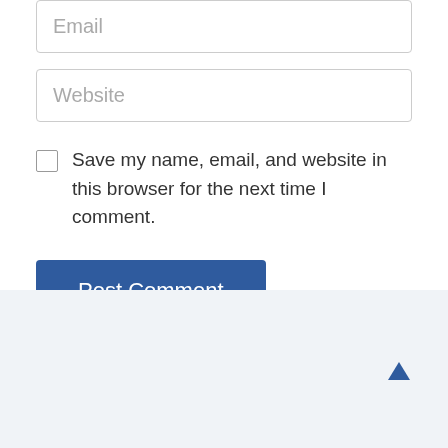Email
Website
Save my name, email, and website in this browser for the next time I comment.
Post Comment